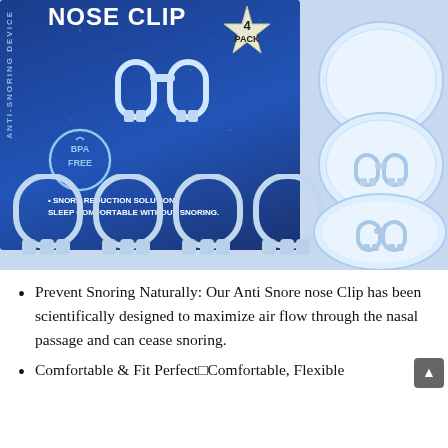[Figure (photo): Product photo of Anti-Snoring Device Nose Clip 4-pack on a dark blue box background, showing BPA Free badge, 4 clear nose clips, and a storage case]
Prevent Snoring Naturally: Our Anti Snore nose Clip has been scientifically designed to maximize air flow through the nasal passage and can cease snoring.
Comfortable & Fit PerfectComfortable, Flexible